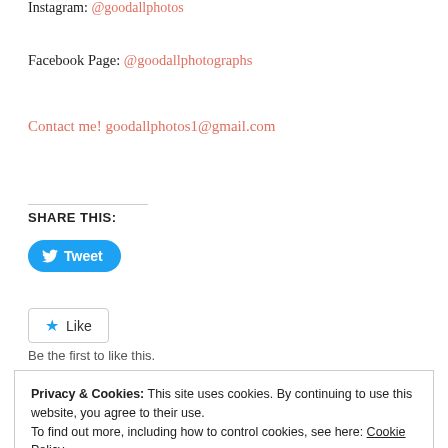Instagram: @goodallphotos
Facebook Page: @goodallphotographs
Contact me! goodallphotos1@gmail.com
SHARE THIS:
[Figure (screenshot): Tweet button with Twitter bird icon on blue rounded background]
[Figure (screenshot): Like button with blue star icon on white rounded-rectangle background]
Be the first to like this.
Privacy & Cookies: This site uses cookies. By continuing to use this website, you agree to their use.
To find out more, including how to control cookies, see here: Cookie Policy
Close and accept